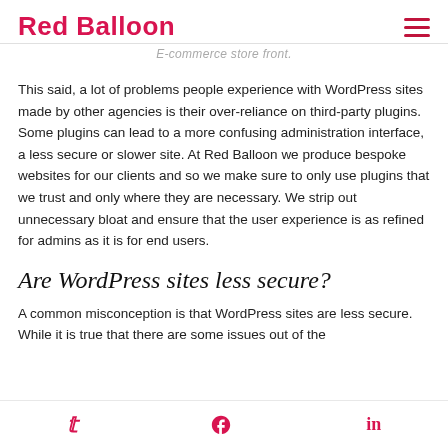Red Balloon
E-commerce store front.
This said, a lot of problems people experience with WordPress sites made by other agencies is their over-reliance on third-party plugins. Some plugins can lead to a more confusing administration interface, a less secure or slower site. At Red Balloon we produce bespoke websites for our clients and so we make sure to only use plugins that we trust and only where they are necessary. We strip out unnecessary bloat and ensure that the user experience is as refined for admins as it is for end users.
Are WordPress sites less secure?
A common misconception is that WordPress sites are less secure. While it is true that there are some issues out of the
Twitter Facebook LinkedIn